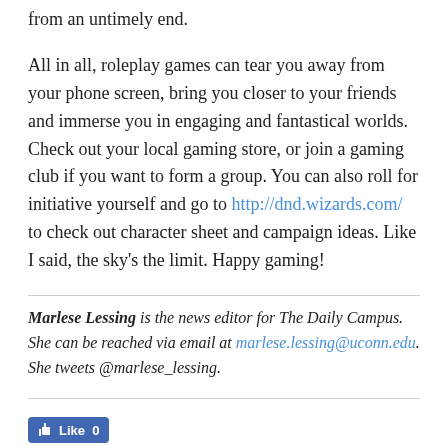from an untimely end.
All in all, roleplay games can tear you away from your phone screen, bring you closer to your friends and immerse you in engaging and fantastical worlds. Check out your local gaming store, or join a gaming club if you want to form a group. You can also roll for initiative yourself and go to http://dnd.wizards.com/ to check out character sheet and campaign ideas. Like I said, the sky’s the limit. Happy gaming!
Marlese Lessing is the news editor for The Daily Campus. She can be reached via email at marlese.lessing@uconn.edu. She tweets @marlese_lessing.
[Figure (other): Facebook Like button showing 0 likes]